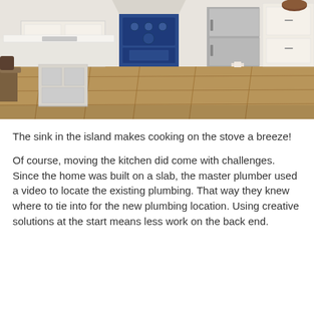[Figure (photo): Kitchen interior showing a large island with a sink, white cabinetry, a blue stove, stainless steel refrigerator, and hardwood floors.]
The sink in the island makes cooking on the stove a breeze!
Of course, moving the kitchen did come with challenges. Since the home was built on a slab, the master plumber used a video to locate the existing plumbing. That way they knew where to tie into for the new plumbing location. Using creative solutions at the start means less work on the back end.